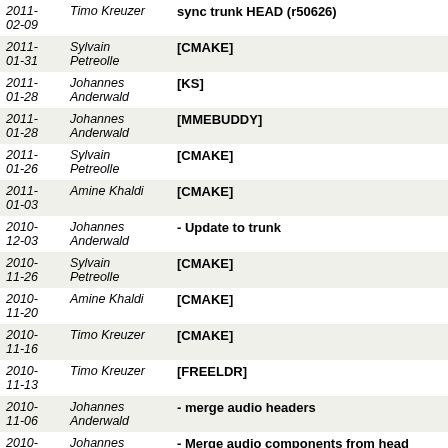| Date | Author | Description |
| --- | --- | --- |
| 2011-02-09 | Timo Kreuzer | sync trunk HEAD (r50626) |
| 2011-01-31 | Sylvain Petreolle | [CMAKE] |
| 2011-01-28 | Johannes Anderwald | [KS] |
| 2011-01-28 | Johannes Anderwald | [MMEBUDDY] |
| 2011-01-26 | Sylvain Petreolle | [CMAKE] |
| 2011-01-03 | Amine Khaldi | [CMAKE] |
| 2010-12-03 | Johannes Anderwald | - Update to trunk |
| 2010-11-26 | Sylvain Petreolle | [CMAKE] |
| 2010-11-20 | Amine Khaldi | [CMAKE] |
| 2010-11-16 | Timo Kreuzer | [CMAKE] |
| 2010-11-13 | Timo Kreuzer | [FREELDR] |
| 2010-11-06 | Johannes Anderwald | - merge audio headers |
| 2010-11-05 | Johannes Anderwald | - Merge audio components from head |
| 2010- | Timo Kreuzer | Create a branch for audio work |